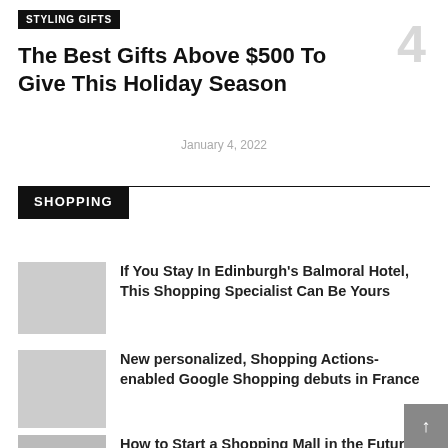STYLING GIFTS
The Best Gifts Above $500 To Give This Holiday Season
January 4, 2022
SHOPPING
If You Stay In Edinburgh's Balmoral Hotel, This Shopping Specialist Can Be Yours
New personalized, Shopping Actions-enabled Google Shopping debuts in France
How to Start a Shopping Mall in the Future